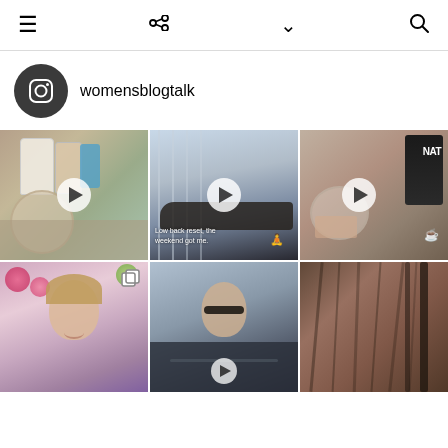Navigation bar with menu, share, dropdown, and search icons
[Figure (other): Instagram profile icon (camera logo) with username womensblogtalk]
womensblogtalk
[Figure (photo): Video thumbnail of supplements and drinks on counter with play button]
[Figure (photo): Video thumbnail of person doing low back yoga stretch on balcony with caption 'Low back reset, the weekend got me.' and yoga emoji]
[Figure (photo): Video thumbnail of NAT supplement powder and container with coffee emoji overlay]
[Figure (photo): Photo of smiling blonde woman with flowers, with multi-image icon overlay]
[Figure (photo): Video thumbnail of person in car with sunglasses]
[Figure (photo): Video thumbnail showing close-up of brown hair/head]